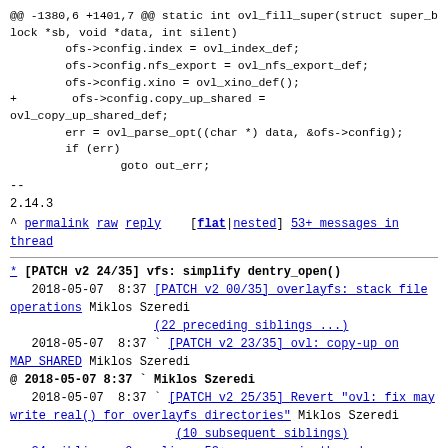@@ -1380,6 +1401,7 @@ static int ovl_fill_super(struct super_block *sb, void *data, int silent)
        ofs->config.index = ovl_index_def;
        ofs->config.nfs_export = ovl_nfs_export_def;
        ofs->config.xino = ovl_xino_def();
+        ofs->config.copy_up_shared =
ovl_copy_up_shared_def;
        err = ovl_parse_opt((char *) data, &ofs->config);
        if (err)
                goto out_err;
--
2.14.3
^ permalink raw reply [flat|nested] 53+ messages in thread
* [PATCH v2 24/35] vfs: simplify dentry_open()
   2018-05-07  8:37 [PATCH v2 00/35] overlayfs: stack file operations Miklos Szeredi
                    (22 preceding siblings ...)
   2018-05-07  8:37 ` [PATCH v2 23/35] ovl: copy-up on MAP SHARED Miklos Szeredi
@ 2018-05-07  8:37 ` Miklos Szeredi
   2018-05-07  8:37   ` [PATCH v2 25/35] Revert "ovl: fix may write real() for overlayfs directories" Miklos Szeredi
                       (10 subsequent siblings)
   34 siblings, 0 replies; 53+ messages in thread